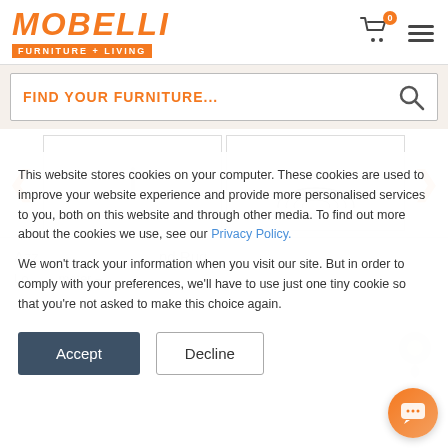[Figure (logo): Mobelli Furniture + Living logo in orange with italic bold text and orange banner subtitle]
[Figure (screenshot): Search bar with placeholder text FIND YOUR FURNITURE... and search icon]
[Figure (screenshot): Product carousel with left and right orange navigation arrows and two product image panels]
This website stores cookies on your computer. These cookies are used to improve your website experience and provide more personalised services to you, both on this website and through other media. To find out more about the cookies we use, see our Privacy Policy.
We won't track your information when you visit our site. But in order to comply with your preferences, we'll have to use just one tiny cookie so that you're not asked to make this choice again.
[Figure (screenshot): Accept and Decline cookie consent buttons]